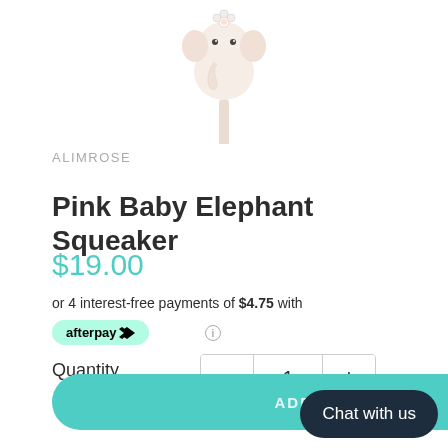[Figure (photo): Pink baby elephant squeaker toy on a stick, soft plush toy, white/pink colors, shown from front against white background]
ALIMROSE
Pink Baby Elephant Squeaker
$19.00
or 4 interest-free payments of $4.75 with
[Figure (logo): Afterpay logo badge in mint green rounded rectangle]
Quantity  —  1  +
ADD TO CART
Chat with us